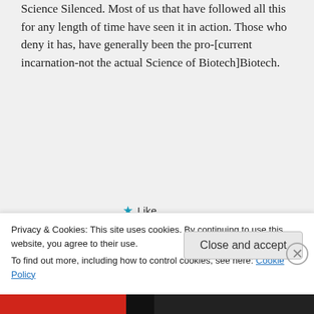Science Silenced. Most of us that have followed all this for any length of time have seen it in action. Those who deny it has, have generally been the pro-[current incarnation-not the actual Science of Biotech]Biotech.
★ Like
↳ Reply
Rick Leonard on January 15, 2014 at
Privacy & Cookies: This site uses cookies. By continuing to use this website, you agree to their use.
To find out more, including how to control cookies, see here: Cookie Policy
Close and accept